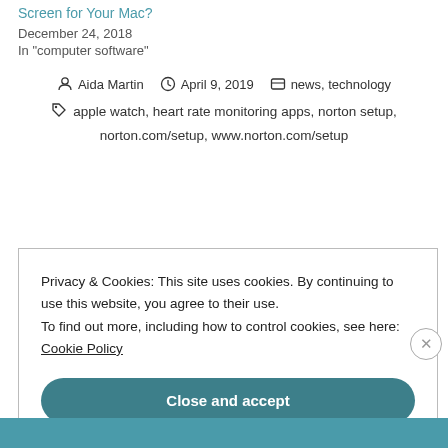Screen for Your Mac?
December 24, 2018
In "computer software"
Aida Martin  April 9, 2019  news, technology
apple watch, heart rate monitoring apps, norton setup, norton.com/setup, www.norton.com/setup
Privacy & Cookies: This site uses cookies. By continuing to use this website, you agree to their use. To find out more, including how to control cookies, see here: Cookie Policy
Close and accept